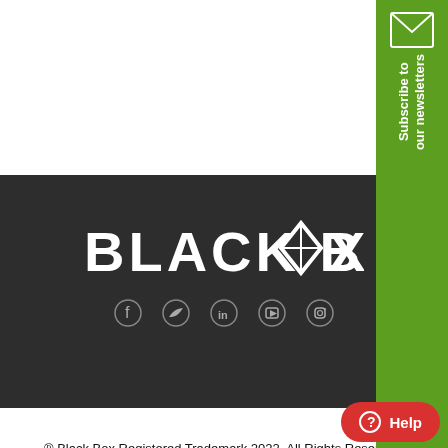the USB Type-C or Thunderbolt 3 port on your laptop, tablet or smartphone to
Sign in to view prices
[Figure (screenshot): Green subscribe to our newsletters tab with envelope icon on right side]
[Figure (logo): Black Box logo in white text on dark background with social media icons (Facebook, Twitter, LinkedIn, YouTube, Instagram)]
® Black Box Registered Trademark 2022. All Rights Reserved. Products - 0118 965 5150 | Solutions - 0118 965 6088